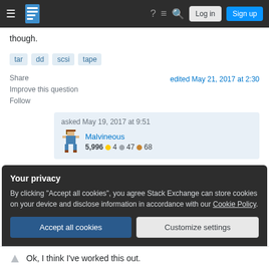Stack Exchange navigation bar with Log in and Sign up buttons
though.
tar  dd  scsi  tape
Share
Improve this question
Follow
edited May 21, 2017 at 2:30
asked May 19, 2017 at 9:51
Malvineous
5,996 ● 4 ● 47 ● 68
Your privacy
By clicking "Accept all cookies", you agree Stack Exchange can store cookies on your device and disclose information in accordance with our Cookie Policy.
Accept all cookies   Customize settings
Ok, I think I've worked this out.